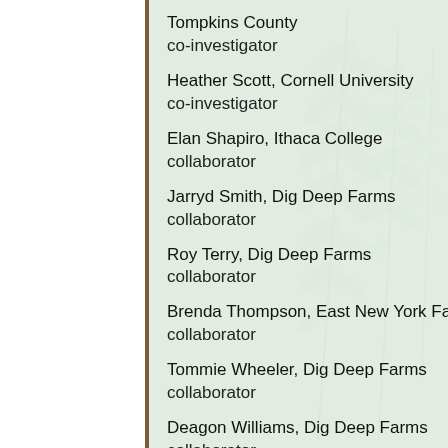Tompkins County co-investigator
Heather Scott, Cornell University co-investigator
Elan Shapiro, Ithaca College collaborator
Jarryd Smith, Dig Deep Farms collaborator
Roy Terry, Dig Deep Farms collaborator
Brenda Thompson, East New York Farms! collaborator
Tommie Wheeler, Dig Deep Farms collaborator
Deagon Williams, Dig Deep Farms collaborator
Malik Yakini, Detroit Black Community Food Security Network outreach trainer